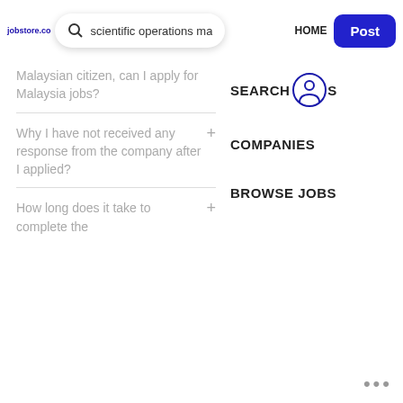jobstore.com | scientific operations ma... | HOME | Post
Malaysian citizen, can I apply for Malaysia jobs?
SEARCH JOBS
Why I have not received any response from the company after I applied?
COMPANIES
BROWSE JOBS
How long does it take to complete the